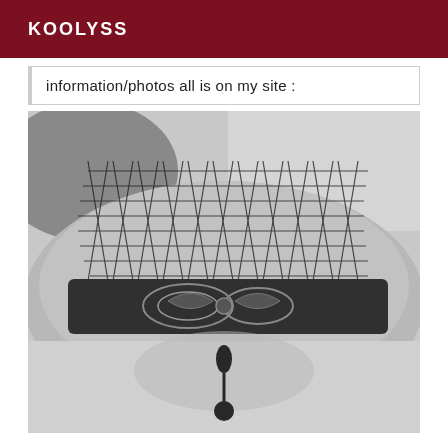KOOLYSS
information/photos all is on my site :
[Figure (photo): Black and white close-up photograph of a leg wearing fishnet stockings with lace trim detail, showing floral lace pattern at the top of the stocking]